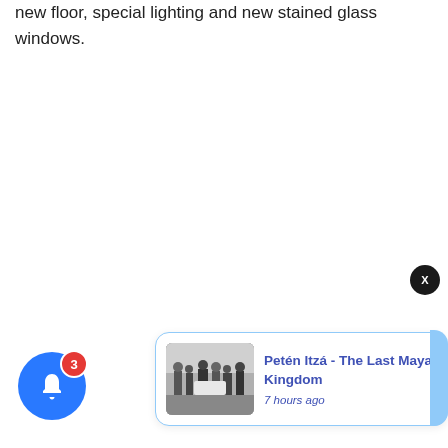new floor, special lighting and new stained glass windows.
[Figure (screenshot): A notification popup card showing 'Petén Itzá - The Last Maya Kingdom' posted 7 hours ago, with a black-and-white thumbnail image of people, a notification bell icon with badge count 3, a close X button, and a blue right-edge strip.]